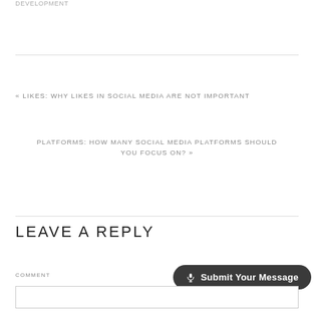DEVELOPMENT
« LIKES: WHY LIKES IN SOCIAL MEDIA ARE NOT IMPORTANT
PLATFORMS: HOW MANY SOCIAL MEDIA PLATFORMS SHOULD YOU FOCUS ON? »
LEAVE A REPLY
COMMENT
[Figure (other): Submit Your Message button with microphone icon]